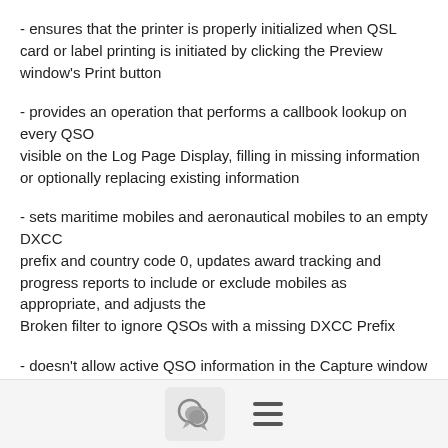- ensures that the printer is properly initialized when QSL card or label printing is initiated by clicking the Preview window's Print button
- provides an operation that performs a callbook lookup on every QSO visible on the Log Page Display, filling in missing information or optionally replacing existing information
- sets maritime mobiles and aeronautical mobiles to an empty DXCC prefix and country code 0, updates award tracking and progress reports to include or exclude mobiles as appropriate, and adjusts the Broken filter to ignore QSOs with a missing DXCC Prefix
- doesn't allow active QSO information in the Capture window to be
[chat icon] [menu icon]